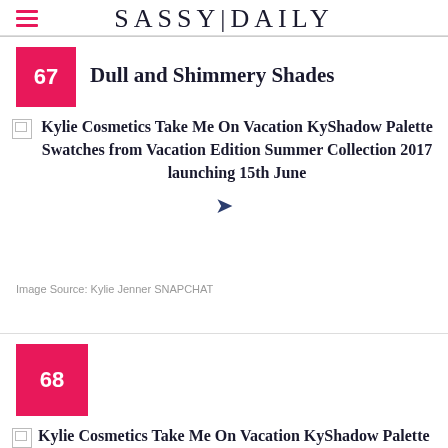SASSY|DAILY
67  Dull and Shimmery Shades
Kylie Cosmetics Take Me On Vacation KyShadow Palette Swatches from Vacation Edition Summer Collection 2017 launching 15th June
Image Source: Kylie Jenner SNAPCHAT
68
Kylie Cosmetics Take Me On Vacation KyShadow Palette